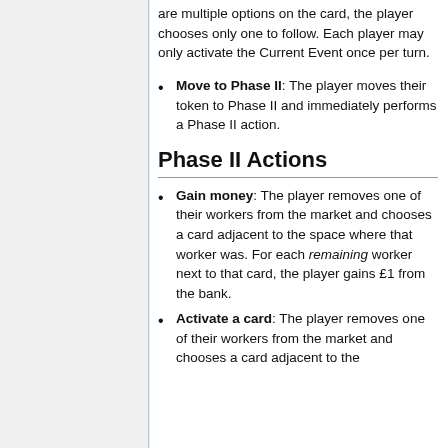are multiple options on the card, the player chooses only one to follow. Each player may only activate the Current Event once per turn.
Move to Phase II: The player moves their token to Phase II and immediately performs a Phase II action.
Phase II Actions
Gain money: The player removes one of their workers from the market and chooses a card adjacent to the space where that worker was. For each remaining worker next to that card, the player gains £1 from the bank.
Activate a card: The player removes one of their workers from the market and chooses a card adjacent to the